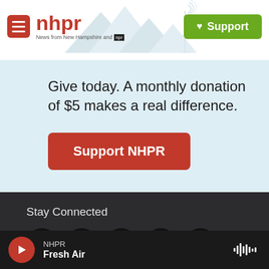[Figure (logo): NHPR logo with menu hamburger icon, red text 'nhpr', tagline 'News from New Hampshire and NPR', mountain/antenna illustration background, and green Support button]
Give today. A monthly donation of $5 makes a real difference.
Support NHPR
Stay Connected
[Figure (infographic): Five social media icons in black circles: Twitter, Instagram, YouTube, Facebook, LinkedIn]
© 2022 New Hampshire Public Radio
NHPR
Fresh Air